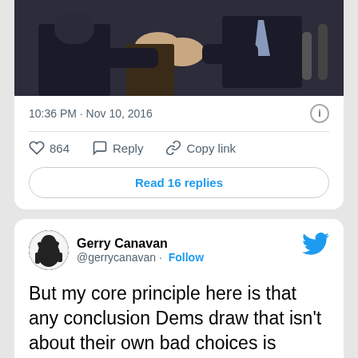[Figure (screenshot): Top portion of a tweet card showing a photo of two people shaking hands]
10:36 PM · Nov 10, 2016
♡ 864   Reply   Copy link
Read 16 replies
Gerry Canavan @gerrycanavan · Follow
But my core principle here is that any conclusion Dems draw that isn't about their own bad choices is destructive.
2:13 AM · Nov 13, 2016
♡ 11   Reply   Copy link
Explore whats happening on Twitter